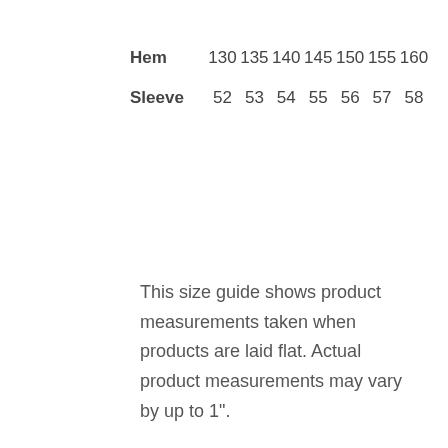|  | 130 | 135 | 140 | 145 | 150 | 155 | 160 |
| --- | --- | --- | --- | --- | --- | --- | --- |
| Hem | 130 | 135 | 140 | 145 | 150 | 155 | 160 |
| Sleeve | 52 | 53 | 54 | 55 | 56 | 57 | 58 |
This size guide shows product measurements taken when products are laid flat. Actual product measurements may vary by up to 1".